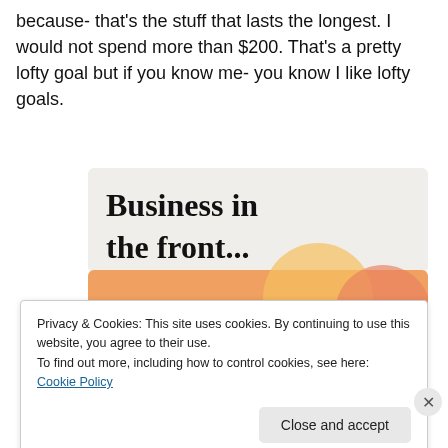because- that's the stuff that lasts the longest. I would not spend more than $200. That's a pretty lofty goal but if you know me- you know I like lofty goals.
[Figure (illustration): Advertisement image with two sections. Top section has light gray background with bold black text 'Business in the front...'. Bottom section has orange/peach gradient background with decorative circles and bold dark text 'WordPress in the back.']
Privacy & Cookies: This site uses cookies. By continuing to use this website, you agree to their use.
To find out more, including how to control cookies, see here: Cookie Policy
Close and accept